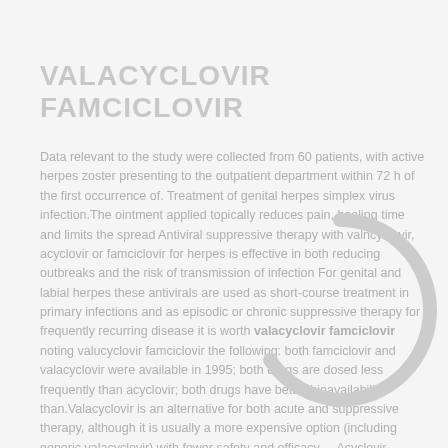VALACYCLOVIR FAMCICLOVIR
Data relevant to the study were collected from 60 patients, with active herpes zoster presenting to the outpatient department within 72 h of the first occurrence of. Treatment of genital herpes simplex virus infection.The ointment applied topically reduces pain, healing time and limits the spread Antiviral suppressive therapy with valncyclovir, acyclovir or famciclovir for herpes is effective in both reducing outbreaks and the risk of transmission of infection For genital and labial herpes these antivirals are used as short-course treatment in primary infections and as episodic or chronic suppressive therapy for frequently recurring disease it is worth valacyclovir famciclovir noting valucyclovir famciclovir the following: both famciclovir and valacyclovir were available in 1995; both drugs are dosed less frequently than acyclovir; both drugs have better bioavailability than.Valacyclovir is an alternative for both acute and suppressive therapy, although it is usually a more expensive option (including generic valacyclovir) with fewer safety and efficacy ... Acyclovir, valacyclovir.